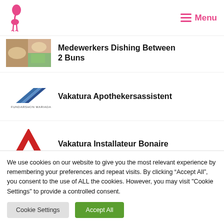Menu
Medewerkers Dishing Between 2 Buns
Vakatura Apothekersassistent
Vakatura Installateur Bonaire
We use cookies on our website to give you the most relevant experience by remembering your preferences and repeat visits. By clicking “Accept All”, you consent to the use of ALL the cookies. However, you may visit "Cookie Settings" to provide a controlled consent.
Cookie Settings  Accept All